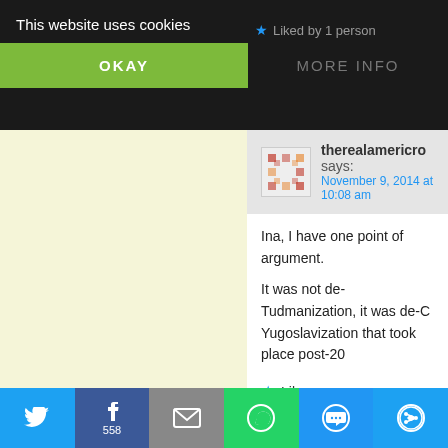This website uses cookies
OKAY
MORE INFO
Liked by 1 person
therealamericro says:
November 9, 2014 at 10:08 am
Ina, I have one point of argument.

It was not de-Tudmanization, it was de-C Yugoslavization that took place post-20
Like
Reply
inavukic says:
November 9, 2014 at 10:19 am
Understood, therealamericro. Your "a
[Figure (screenshot): Social sharing bar with Twitter, Facebook (558), Email, WhatsApp, SMS, and More buttons]